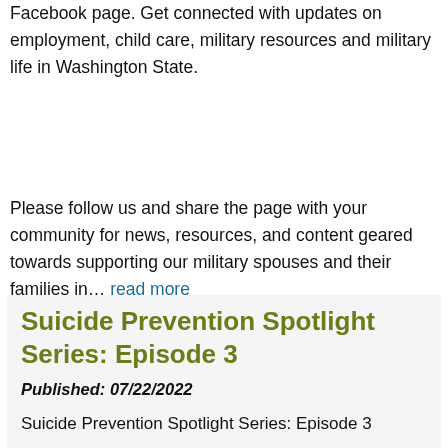Facebook page. Get connected with updates on employment, child care, military resources and military life in Washington State.
Please follow us and share the page with your community for news, resources, and content geared towards supporting our military spouses and their families in… read more
Suicide Prevention Spotlight Series: Episode 3
Published: 07/22/2022
Suicide Prevention Spotlight Series: Episode 3
Introducing Operation CIR in a doom (or remote), the